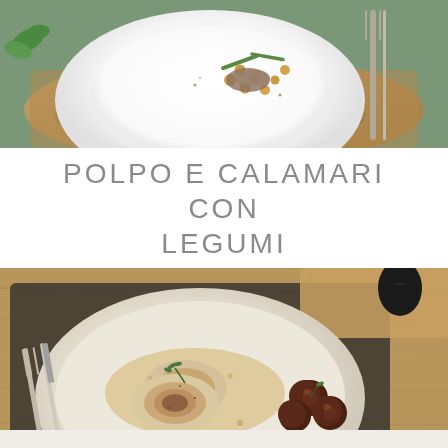[Figure (photo): Food photo from above: a white plate with octopus/squid and legumes (chickpeas, green beans), garnished with herbs, on a brown leather placemat with fork and green napkin.]
POLPO E CALAMARI CON LEGUMI
[Figure (photo): Food photo: a rustic beige ceramic plate with rolled seafood slices (polpo/calamari roulade) with sauce and roasted cherry tomatoes on a dark placemat, with silverware on a wooden table background.]